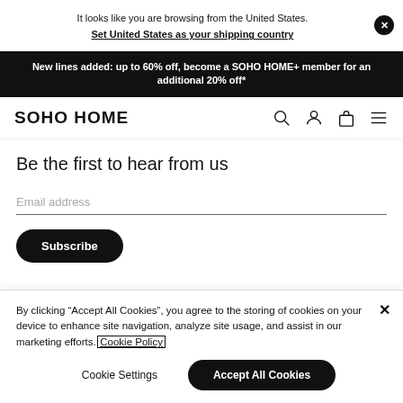It looks like you are browsing from the United States. Set United States as your shipping country
New lines added: up to 60% off, become a SOHO HOME+ member for an additional 20% off*
SOHO HOME
Be the first to hear from us
Email address
Subscribe
By clicking "Accept All Cookies", you agree to the storing of cookies on your device to enhance site navigation, analyze site usage, and assist in our marketing efforts. Cookie Policy
Cookie Settings
Accept All Cookies